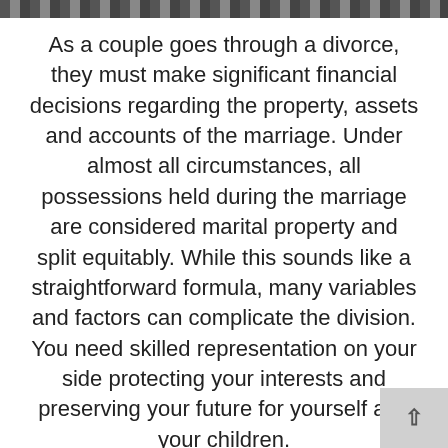As a couple goes through a divorce, they must make significant financial decisions regarding the property, assets and accounts of the marriage. Under almost all circumstances, all possessions held during the marriage are considered marital property and split equitably. While this sounds like a straightforward formula, many variables and factors can complicate the division. You need skilled representation on your side protecting your interests and preserving your future for yourself and your children.